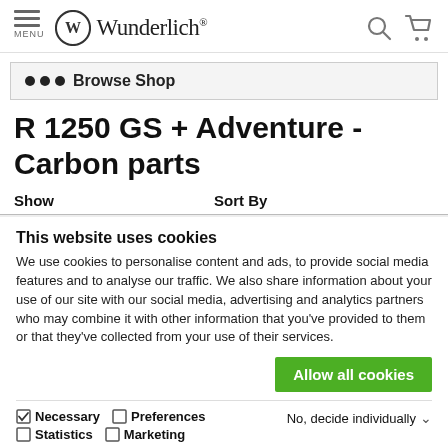Wunderlich — Menu, Search, Cart
••• Browse Shop
R 1250 GS + Adventure - Carbon parts
Show    Sort By
This website uses cookies
We use cookies to personalise content and ads, to provide social media features and to analyse our traffic. We also share information about your use of our site with our social media, advertising and analytics partners who may combine it with other information that you've provided to them or that they've collected from your use of their services.
Allow all cookies
Necessary  Preferences  Statistics  Marketing  No, decide individually